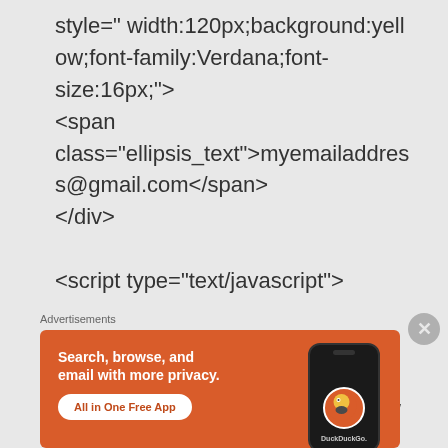style="width:120px;background:yellow;font-family:Verdana;font-size:16px;"> <span class="ellipsis_text">myemailaddress@gmail.com</span> </div> <script type="text/javascript"> $(document).ready(function() { $('.text here').ThreeDots({max row
Advertisements
[Figure (illustration): DuckDuckGo advertisement banner with orange background. Text reads: 'Search, browse, and email with more privacy.' with 'All in One Free App' button. Shows a smartphone with the DuckDuckGo duck logo.]